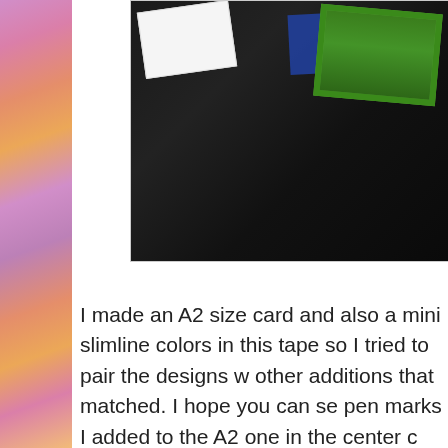[Figure (photo): Photo of cards laid on a dark/black surface. A white card is visible on the left, a green-framed card and dark blue card on the right side. Background is black fabric/mat.]
I made an A2 size card and also a mini slimline colors in this tape so I tried to pair the designs w other additions that matched. I hope you can se pen marks I added to the A2 one in the center c also as little dots. The slim washi tape is also fr already had a gold thread through it. Also the s cards are from Altenew.